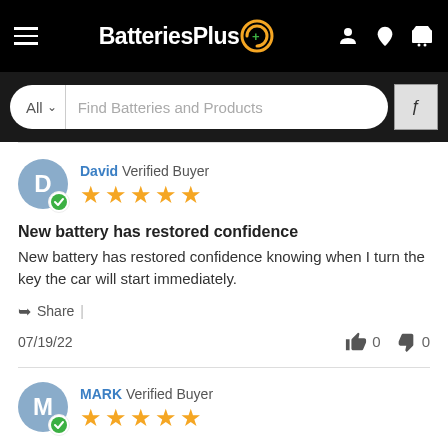BatteriesPlus - header navigation
All  Find Batteries and Products
David Verified Buyer ★★★★★
New battery has restored confidence
New battery has restored confidence knowing when I turn the key the car will start immediately.
Share |
07/19/22  👍 0  👎 0
MARK Verified Buyer ★★★★★